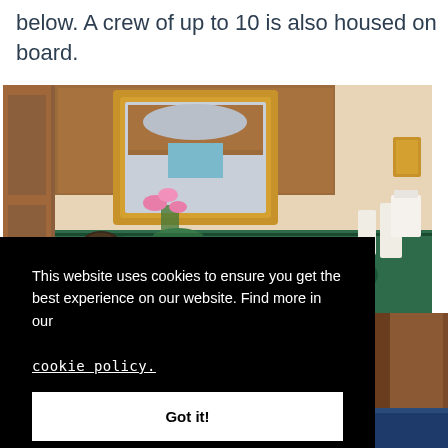below. A crew of up to 10 is also housed on board.
[Figure (photo): Luxury yacht bathroom with green marble countertop, gold faucet, gold-framed mirror, orchid flower, and toiletries]
This website uses cookies to ensure you get the best experience on our website. Find more in our cookie policy.
Got it!
[Figure (photo): Partial view of yacht interior with wooden paneling]
[Figure (photo): Bottom strip showing yacht interior thumbnail images]